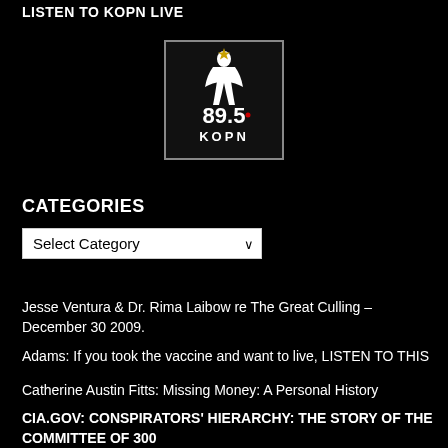LISTEN TO KOPN LIVE
[Figure (logo): KOPN 89.5 FM radio station logo — white logo with stylized figure and '89.5 KOPN' text on dark background inside a bordered box]
CATEGORIES
Select Category
Jesse Ventura & Dr. Rima Laibow re The Great Culling – December 30 2009.
Adams: If you took the vaccine and want to live, LISTEN TO THIS
Catherine Austin Fitts: Missing Money: A Personal History
CIA.GOV: CONSPIRATORS' HIERARCHY: THE STORY OF THE COMMITTEE OF 300